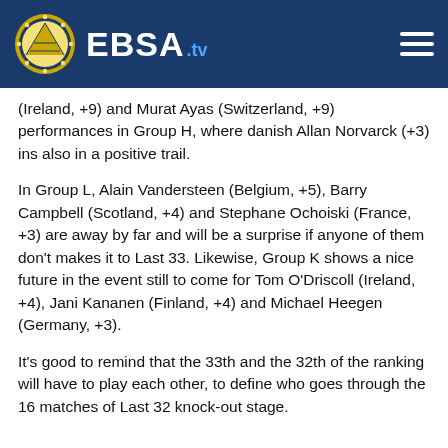EBSA.tv
(Ireland, +9) and Murat Ayas (Switzerland, +9) performances in Group H, where danish Allan Norvarck (+3) ins also in a positive trail.
In Group L, Alain Vandersteen (Belgium, +5), Barry Campbell (Scotland, +4) and Stephane Ochoiski (France, +3) are away by far and will be a surprise if anyone of them don't makes it to Last 33. Likewise, Group K shows a nice future in the event still to come for Tom O'Driscoll (Ireland, +4), Jani Kananen (Finland, +4) and Michael Heegen (Germany, +3).
It's good to remind that the 33th and the 32th of the ranking will have to play each other, to define who goes through the 16 matches of Last 32 knock-out stage.